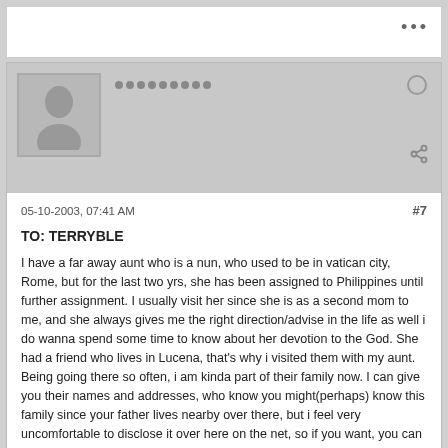[Figure (screenshot): Top white bar with three dots menu icon]
[Figure (screenshot): User profile header with anonymous avatar silhouette, username dots, status circle icon, and share icon]
05-10-2003, 07:41 AM
#7
TO: TERRYBLE
I have a far away aunt who is a nun, who used to be in vatican city, Rome, but for the last two yrs, she has been assigned to Philippines until further assignment. I usually visit her since she is as a second mom to me, and she always gives me the right direction/advise in the life as well i do wanna spend some time to know about her devotion to the God. She had a friend who lives in Lucena, that's why i visited them with my aunt. Being going there so often, i am kinda part of their family now. I can give you their names and addresses, who know you might(perhaps) know this family since your father lives nearby over there, but i feel very uncomfortable to disclose it over here on the net, so if you want, you can write me on my email address:
WILERAO@HOTMAIL.COM
Thanks for yr appreciation and good luck in yr mother's situation. Take care always.